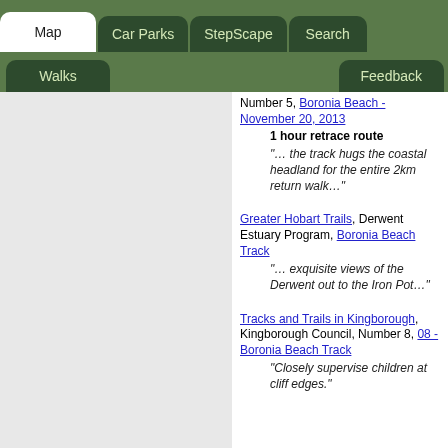Map | Car Parks | StepScape | Search | Walks | Feedback
Number 5, Boronia Beach - November 20, 2013
1 hour retrace route
"… the track hugs the coastal headland for the entire 2km return walk…"
Greater Hobart Trails, Derwent Estuary Program, Boronia Beach Track
"… exquisite views of the Derwent out to the Iron Pot…"
Tracks and Trails in Kingborough, Kingborough Council, Number 8, 08 - Boronia Beach Track
"Closely supervise children at cliff edges."